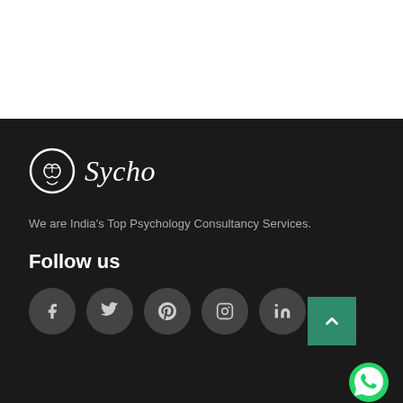[Figure (logo): Sycho psychology consultancy logo with brain/head icon and italic text 'Sycho']
We are India's Top Psychology Consultancy Services.
Follow us
[Figure (infographic): Row of five dark circular social media icon buttons: Facebook, Twitter, Pinterest, Instagram, LinkedIn]
[Figure (other): Teal/green back-to-top arrow button and WhatsApp green icon button in bottom right corner]